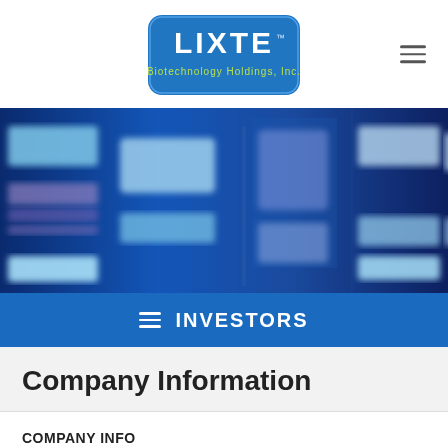[Figure (logo): LIXTE Biotechnology Holdings, Inc. logo — white text on blue rounded rectangle background]
[Figure (photo): Blue-toned gel electrophoresis or DNA blot science laboratory image with glowing blue and purple bands on dark blue background]
INVESTORS
Company Information
COMPANY INFO
Overview ▶